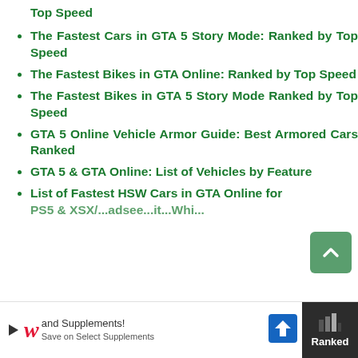Top Speed
The Fastest Cars in GTA 5 Story Mode: Ranked by Top Speed
The Fastest Bikes in GTA Online: Ranked by Top Speed
The Fastest Bikes in GTA 5 Story Mode Ranked by Top Speed
GTA 5 Online Vehicle Armor Guide: Best Armored Cars Ranked
GTA 5 & GTA Online: List of Vehicles by Feature
List of Fastest HSW Cars in GTA Online for PS5 & XSX/...